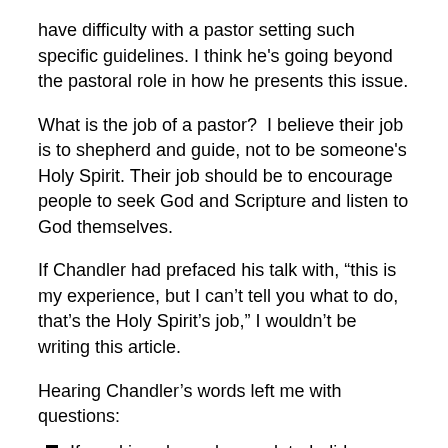have difficulty with a pastor setting such specific guidelines. I think he's going beyond the pastoral role in how he presents this issue.
What is the job of a pastor?  I believe their job is to shepherd and guide, not to be someone's Holy Spirit. Their job should be to encourage people to seek God and Scripture and listen to God themselves.
If Chandler had prefaced his talk with, “this is my experience, but I can't tell you what to do, that's the Holy Spirit's job,” I wouldn't be writing this article.
Hearing Chandler’s words left me with questions:
If you kissed people you dated, did you have to do repair work later on when you got married?
Did your spouse care if you had kissed someone